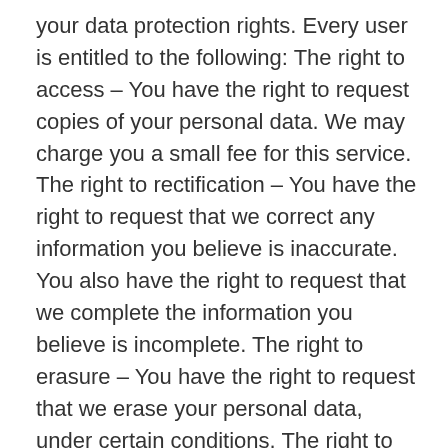your data protection rights. Every user is entitled to the following: The right to access – You have the right to request copies of your personal data. We may charge you a small fee for this service. The right to rectification – You have the right to request that we correct any information you believe is inaccurate. You also have the right to request that we complete the information you believe is incomplete. The right to erasure – You have the right to request that we erase your personal data, under certain conditions. The right to restrict processing – You have the right to request that we restrict the processing of your personal data, under certain conditions. The right to object to processing – You have the right to object to our processing of your personal data, under certain conditions. The right to data portability – You have the right to request that we transfer the data that we have collected to another organization, or directly to you, under certain conditions. If you make a request, we have one month to respond to